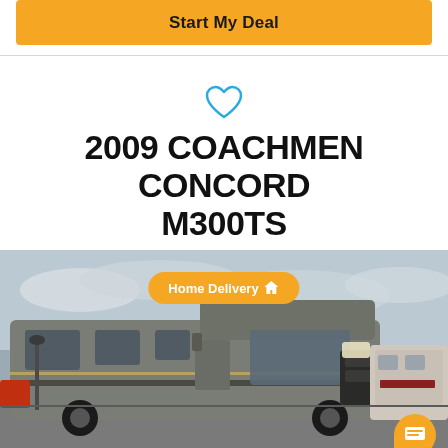Start My Deal
2009 COACHMEN CONCORD M300TS
[Figure (photo): Exterior photo of a 2009 Coachmen Concord M300TS Class C motorhome parked in a lot, with a gray/brown exterior, Ford chassis, and a travel trailer visible in the background. An orange 'Home Delivery' badge overlays the top center of the image.]